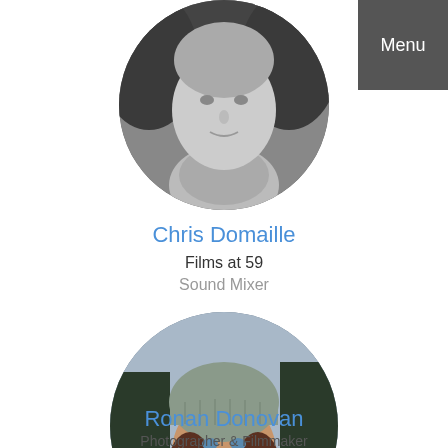[Figure (photo): Circular cropped black and white headshot photo of Chris Domaille]
Chris Domaille
Films at 59
Sound Mixer
[Figure (photo): Circular cropped color photo of Ronan Donovan wearing a grey knit beanie hat with beard and long hair, smiling outdoors]
Ronan Donovan
Photographer & Filmmaker